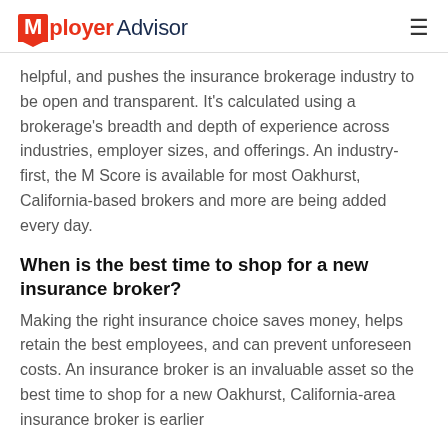Mployer Advisor
helpful, and pushes the insurance brokerage industry to be open and transparent. It's calculated using a brokerage's breadth and depth of experience across industries, employer sizes, and offerings. An industry-first, the M Score is available for most Oakhurst, California-based brokers and more are being added every day.
When is the best time to shop for a new insurance broker?
Making the right insurance choice saves money, helps retain the best employees, and can prevent unforeseen costs. An insurance broker is an invaluable asset so the best time to shop for a new Oakhurst, California-area insurance broker is earlier